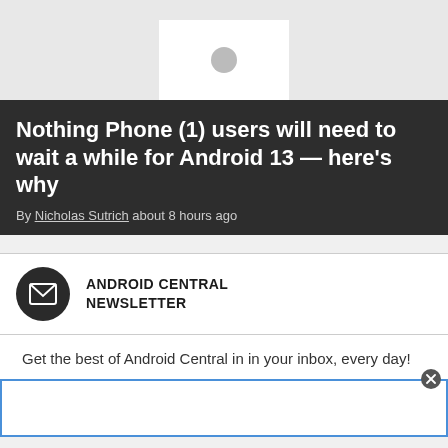[Figure (photo): Gray placeholder image area with white rectangle and gray circle at top of page]
Nothing Phone (1) users will need to wait a while for Android 13 — here's why
By Nicholas Sutrich about 8 hours ago
ANDROID CENTRAL NEWSLETTER
Get the best of Android Central in in your inbox, every day!